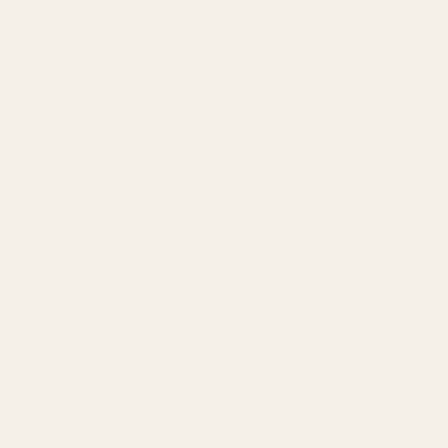29. He who di... shoulders the...
of asceticism... demands, or s...
exertion, or he... fervently plou...
furrow of the v...
[V4] 87
Nikitas Stithat...
On the Practic...
One Hundred...